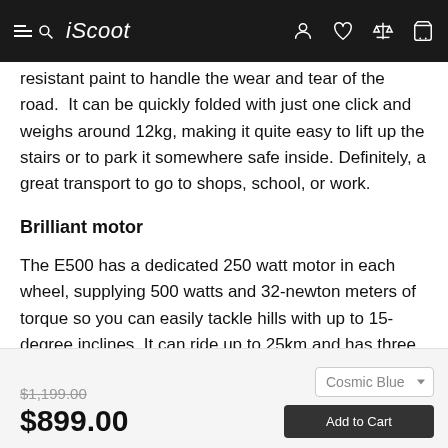iScoot
resistant paint to handle the wear and tear of the road.  It can be quickly folded with just one click and weighs around 12kg, making it quite easy to lift up the stairs or to park it somewhere safe inside. Definitely, a great transport to go to shops, school, or work.
Brilliant motor
The E500 has a dedicated 250 watt motor in each wheel, supplying 500 watts and 32-newton meters of torque so you can easily tackle hills with up to 15-degree inclines. It can ride up to 25km and has three riding modes: Eco (14-18km/hour), Standard (18-21km/hour), and Professional (24-25km/hour).
$1,199.00 $899.00
Cosmic Blue